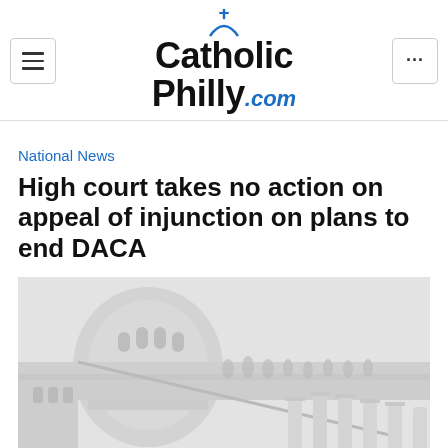[Figure (logo): CatholicPhilly.com logo with cross icon above text]
National News
High court takes no action on appeal of injunction on plans to end DACA
[Figure (photo): Photograph of the US Supreme Court or Capitol building facade, white stone columns and neoclassical architecture, grayscale/light toned]